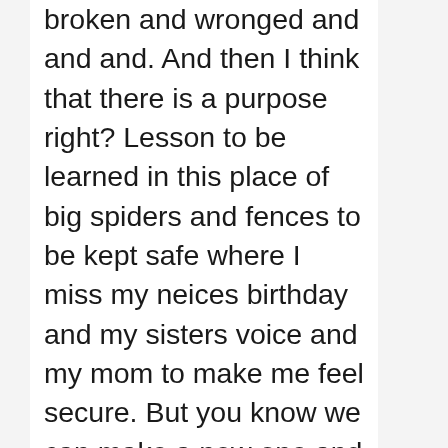broken and wronged and and and. And then I think that there is a purpose right? Lesson to be learned in this place of big spiders and fences to be kept safe where I miss my neices birthday and my sisters voice and my mom to make me feel secure. But you know we can make a new one and I will make it through. There were all the kids from the youth group and my family and all the people from Las Vegas and California. It was on the plane because I was writing letters and now, here...nope. I don't know what to do. Crystal, please pray for me and for this not to make me go crazy. A purpose for me to grow and learn. Right? Something has to be the reason.